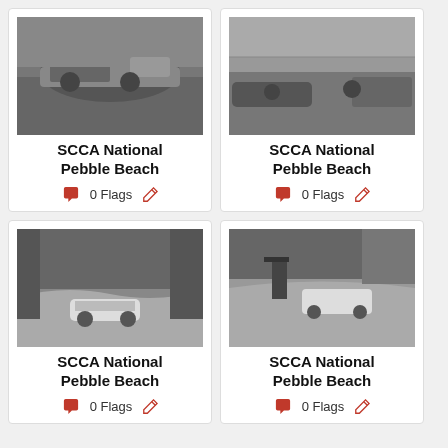[Figure (photo): Black and white vintage racing photo showing a person leaning over a race car with other cars in background]
SCCA National Pebble Beach
0 Flags
[Figure (photo): Black and white vintage racing photo showing a race car on track with spectators along the side]
SCCA National Pebble Beach
0 Flags
[Figure (photo): Black and white vintage racing photo showing a white sports car on a curved road with trees]
SCCA National Pebble Beach
0 Flags
[Figure (photo): Black and white vintage racing photo showing a person on a road with a race car and crowd in background]
SCCA National Pebble Beach
0 Flags